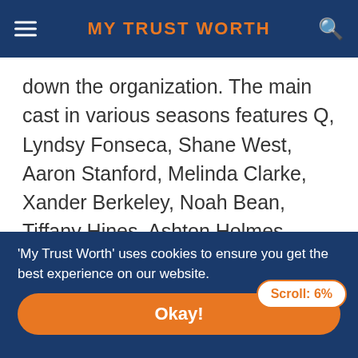MY TRUST WORTH
down the organization. The main cast in various seasons features Q, Lyndsy Fonseca, Shane West, Aaron Stanford, Melinda Clarke, Xander Berkeley, Noah Bean, Tiffany Hines, Ashton Holmes, Dillon Casey, and Devon Sawa.
The series focuses on Nikita Mears, a woman who
Scroll: 6%
'My Trust Worth' uses cookies to ensure you get the best experience on our website.
Okay!